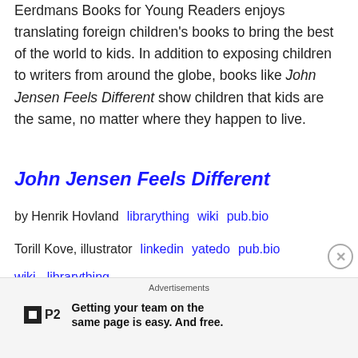Eerdmans Books for Young Readers enjoys translating foreign children's books to bring the best of the world to kids. In addition to exposing children to writers from around the globe, books like John Jensen Feels Different show children that kids are the same, no matter where they happen to live.
John Jensen Feels Different
by Henrik Hovland   librarything   wiki   pub.bio
Torill Kove, illustrator   linkedin   yatedo   pub.bio
wiki   librarything
Advertisements
P2 Getting your team on the same page is easy. And free.